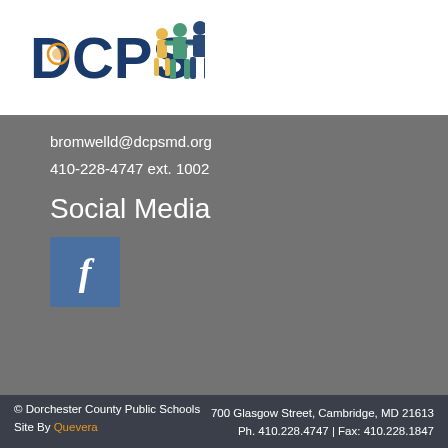[Figure (logo): DCPS logo with text and colorful human silhouette figures]
bromwelld@dcpsmd.org
410-228-4747 ext. 1002
Social Media
[Figure (illustration): Facebook 'f' icon in blue square]
© Dorchester County Public Schools
Site By Quevera
700 Glasgow Street, Cambridge, MD 21613
Ph. 410.228.4747 | Fax: 410.228.1847